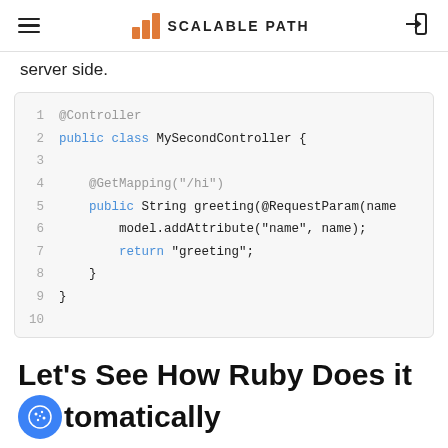SCALABLE PATH
server side.
[Figure (screenshot): Java code block showing a Spring MVC controller with @Controller, public class MySecondController, @GetMapping('/hi'), public String greeting(@RequestParam(name...), model.addAttribute('name', name);, return 'greeting';, closing braces, 10 lines total.]
Let’s See How Ruby Does it Automatically